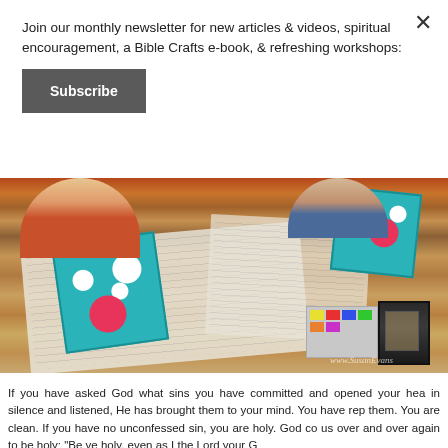Join our monthly newsletter for new articles & videos, spiritual encouragement, a Bible Crafts e-book, & refreshing workshops:
Subscribe
[Figure (photo): Children painting teal canvases with flowers at a wooden table covered with newspaper. Paint supplies and a lantern visible. Watermark: www.SusanEvans]
If you have asked God what sins you have committed and opened your hea... in silence and listened, He has brought them to your mind. You have rep... them. You are clean. If you have no unconfessed sin, you are holy. God co... us over and over again to be holy: "Be ye holy, even as I the Lord your G...